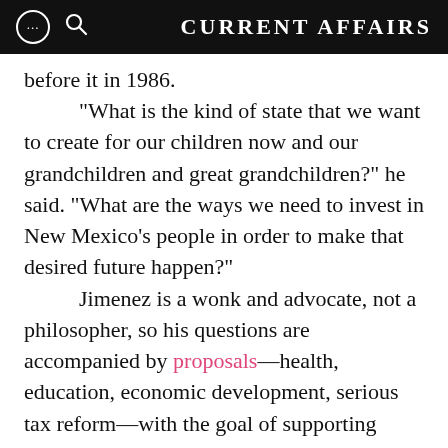CURRENT AFFAIRS
before it in 1986.

“What is the kind of state that we want to create for our children now and our grandchildren and great grandchildren?” he said. “What are the ways we need to invest in New Mexico’s people in order to make that desired future happen?”

Jimenez is a wonk and advocate, not a philosopher, so his questions are accompanied by proposals—health, education, economic development, serious tax reform—with the goal of supporting healthy child brain development and well... [continues]